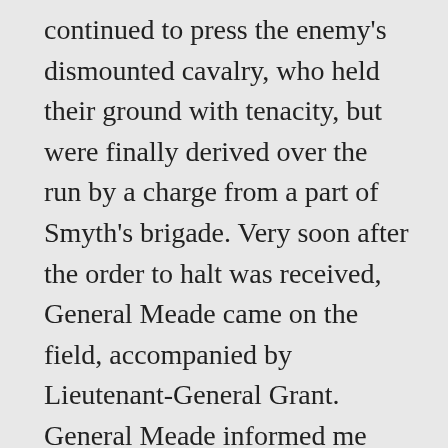continued to press the enemy's dismounted cavalry, who held their ground with tenacity, but were finally derived over the run by a charge from a part of Smyth's brigade. Very soon after the order to halt was received, General Meade came on the field, accompanied by Lieutenant-General Grant. General Meade informed me that Crawford's division, of the Fifth Corps, was feeling its way up along the south bank of the run, and desired me to assist in making the connection by extending to the right. The same information substantially
and a caution concerning the vacant space between the Fifth Corps and my right, had been received from General Humpreys, chief of staff, but a few minutes before General Meade's arrival. Under instructions from me, General Egan deployed two of his brigades to the right of the plank road, and subsequently